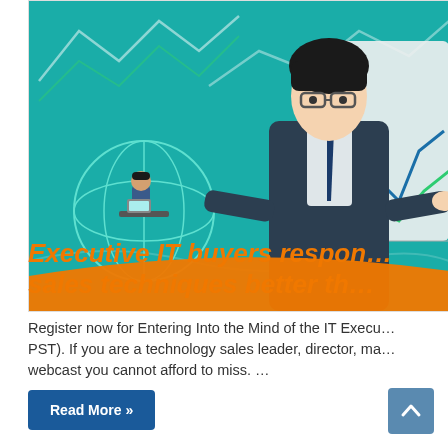[Figure (illustration): An illustration showing a business presenter (woman with glasses in a suit) pointing at a chart/screen with upward trending lines, with a globe featuring a person sitting at a desk visible in the lower left. Background is teal/green. Orange curved banner at the bottom.]
Executive IT buyers respon… sales techniques better th…
Register now for Entering Into the Mind of the IT Execu… PST). If you are a technology sales leader, director, ma… webcast you cannot afford to miss. …
Read More »
^